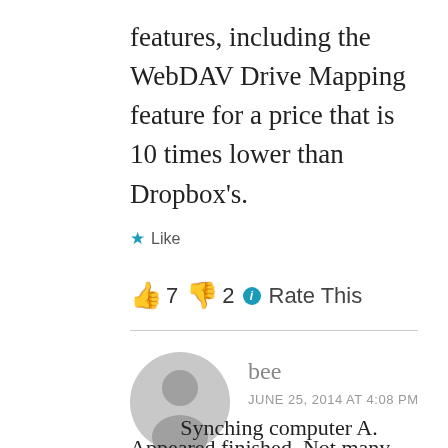features, including the WebDAV Drive Mapping feature for a price that is 10 times lower than Dropbox's.
★ Like
👍 7 👎 2 ℹ Rate This
bee
JUNE 25, 2014 AT 4:08 PM
Synching computer A. Appeared finished. Not many files needed updated. Then turn on computer B to synch. 80% of files starting deleting on computer B